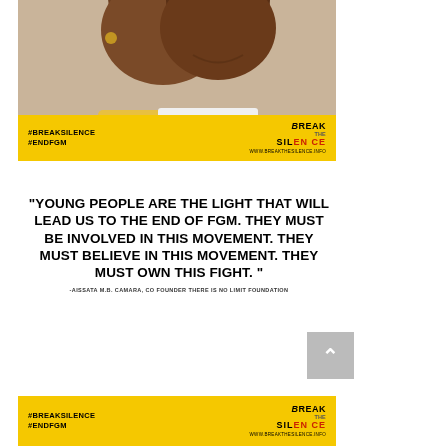[Figure (photo): Two young Black individuals photographed from the shoulders up against a light background, with a yellow banner overlay.]
#BREAKSILENCE
#ENDFGM
[Figure (logo): Break The Silence logo with website www.breakthesilence.info]
"YOUNG PEOPLE ARE THE LIGHT THAT WILL LEAD US TO THE END OF FGM. THEY MUST BE INVOLVED IN THIS MOVEMENT. THEY MUST BELIEVE IN THIS MOVEMENT. THEY MUST OWN THIS FIGHT. "
-AISSATA M.B. CAMARA, CO FOUNDER THERE IS NO LIMIT FOUNDATION
#BREAKSILENCE
#ENDFGM
[Figure (logo): Break The Silence logo with website www.breakthesilence.info]